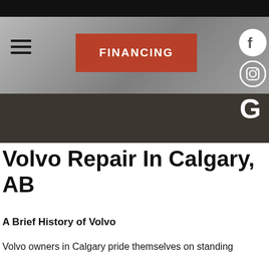[Figure (screenshot): Website header banner with a gray blurred car background image, a hamburger menu icon on the left, a red FINANCING button in the center, and social media icons (Facebook, Instagram, Google) on the right. A dark brownish-black bar spans the bottom portion of the banner.]
Volvo Repair In Calgary, AB
A Brief History of Volvo
Volvo owners in Calgary pride themselves on standing